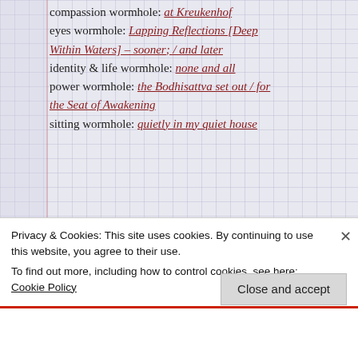compassion wormhole: at Kreukenhof
eyes wormhole: Lapping Reflections [Deep Within Waters] – sooner; / and later
identity & life wormhole: none and all
power wormhole: the Bodhisattva set out / for the Seat of Awakening
sitting wormhole: quietly in my quiet house
Rate This:
whaddhvathinkathis
Privacy & Cookies: This site uses cookies. By continuing to use this website, you agree to their use. To find out more, including how to control cookies, see here: Cookie Policy
Close and accept